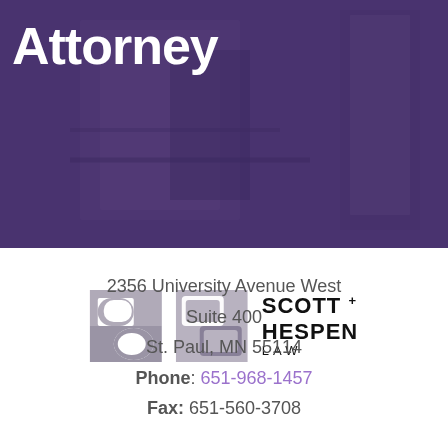Attorney
[Figure (logo): Scott + Hespen Law logo with stylized S icon in grey]
2356 University Avenue West
Suite 400
St. Paul, MN 55114
Phone: 651-968-1457
Fax: 651-560-3708